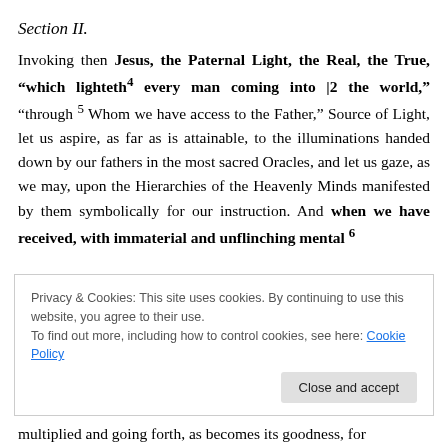Section II.
Invoking then Jesus, the Paternal Light, the Real, the True, “which lighteth⁴ every man coming into |2 the world,” “through ⁵ Whom we have access to the Father,” Source of Light, let us aspire, as far as is attainable, to the illuminations handed down by our fathers in the most sacred Oracles, and let us gaze, as we may, upon the Hierarchies of the Heavenly Minds manifested by them symbolically for our instruction. And when we have received, with immaterial and unflinching mental ⁶
Privacy & Cookies: This site uses cookies. By continuing to use this website, you agree to their use.
To find out more, including how to control cookies, see here: Cookie Policy
multiplied and going forth, as becomes its goodness, for